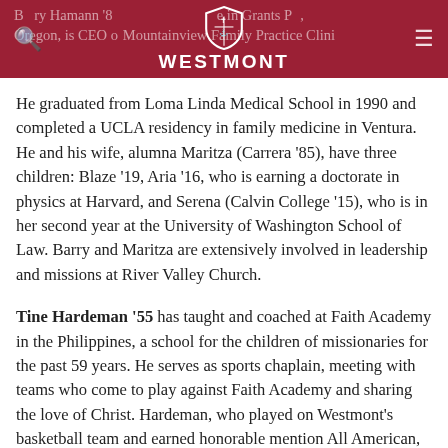Barry Hamann '85 … in Grants Pass, Oregon, is CEO of Mountainview Family Practice Clinic
He graduated from Loma Linda Medical School in 1990 and completed a UCLA residency in family medicine in Ventura. He and his wife, alumna Maritza (Carrera '85), have three children: Blaze '19, Aria '16, who is earning a doctorate in physics at Harvard, and Serena (Calvin College '15), who is in her second year at the University of Washington School of Law. Barry and Maritza are extensively involved in leadership and missions at River Valley Church.
Tine Hardeman '55 has taught and coached at Faith Academy in the Philippines, a school for the children of missionaries for the past 59 years. He serves as sports chaplain, meeting with teams who come to play against Faith Academy and sharing the love of Christ. Hardeman, who played on Westmont's basketball team and earned honorable mention All American, was inducted into Westmont's Athletic Hall of Fame in 2010. In 2013, Westmont honored the Hardemans as Educational Family